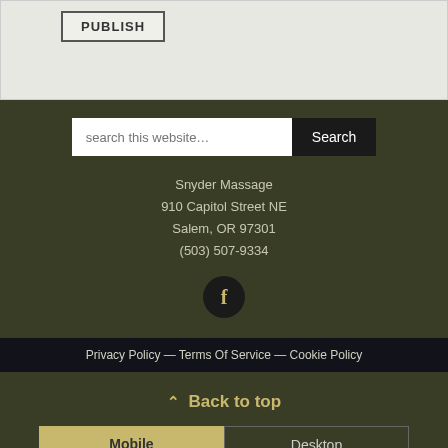[Figure (screenshot): PUBLISH button in a light gray UI section]
search this website…
Search
Snyder Massage
910 Capitol Street NE
Salem, OR 97301
(503) 507-9334
[Figure (logo): Facebook icon in dark circle]
Privacy Policy — Terms Of Service — Cookie Policy
⌃ Back to top
Mobile   Desktop